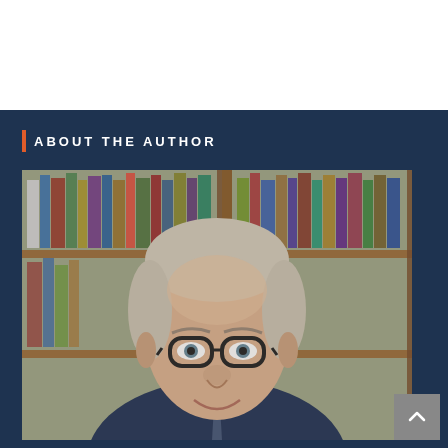ABOUT THE AUTHOR
[Figure (photo): Headshot of a middle-aged man with gray hair, wearing black-framed glasses and a suit, photographed in front of a bookshelf with colorful books.]